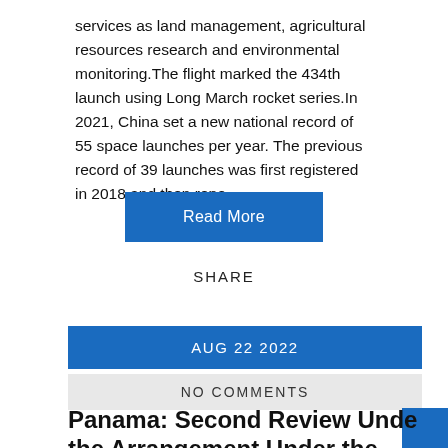services as land management, agricultural resources research and environmental monitoring.The flight marked the 434th launch using Long March rocket series.In 2021, China set a new national record of 55 space launches per year. The previous record of 39 launches was first registered in 2018 and then repe...
Read More
SHARE
AUG 22 2022
NO COMMENTS
Panama: Second Review Unde the Arrangement Under the